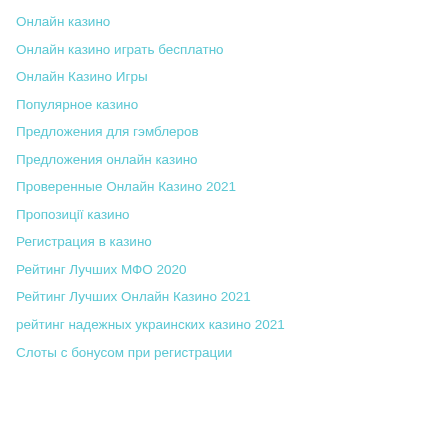Онлайн казино
Онлайн казино играть бесплатно
Онлайн Казино Игры
Популярное казино
Предложения для гэмблеров
Предложения онлайн казино
Проверенные Онлайн Казино 2021
Пропозиції казино
Регистрация в казино
Рейтинг Лучших МФО 2020
Рейтинг Лучших Онлайн Казино 2021
рейтинг надежных украинских казино 2021
Слоты с бонусом при регистрации